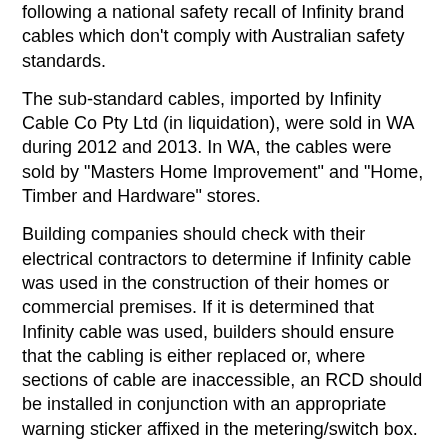following a national safety recall of Infinity brand cables which don't comply with Australian safety standards.
The sub-standard cables, imported by Infinity Cable Co Pty Ltd (in liquidation), were sold in WA during 2012 and 2013. In WA, the cables were sold by "Masters Home Improvement" and "Home, Timber and Hardware" stores.
Building companies should check with their electrical contractors to determine if Infinity cable was used in the construction of their homes or commercial premises. If it is determined that Infinity cable was used, builders should ensure that the cabling is either replaced or, where sections of cable are inaccessible, an RCD should be installed in conjunction with an appropriate warning sticker affixed in the metering/switch box.